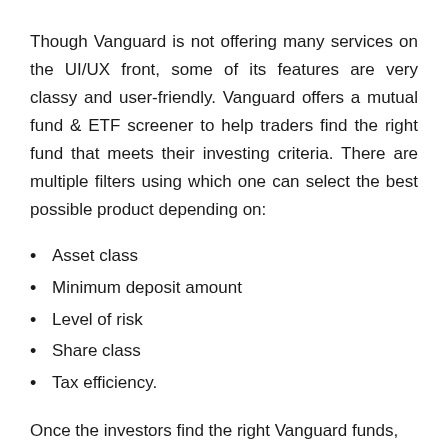Though Vanguard is not offering many services on the UI/UX front, some of its features are very classy and user-friendly. Vanguard offers a mutual fund & ETF screener to help traders find the right fund that meets their investing criteria. There are multiple filters using which one can select the best possible product depending on:
Asset class
Minimum deposit amount
Level of risk
Share class
Tax efficiency.
Once the investors find the right Vanguard funds, they can invest directly.